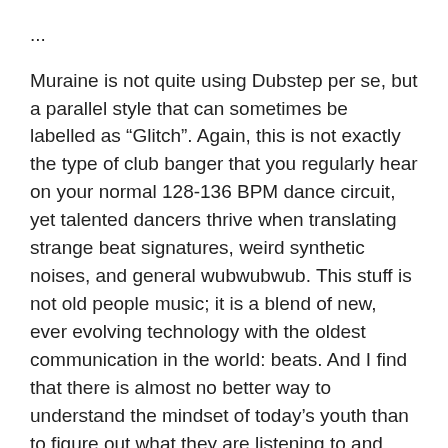...
Muraine is not quite using Dubstep per se, but a parallel style that can sometimes be labelled as “Glitch”. Again, this is not exactly the type of club banger that you regularly hear on your normal 128-136 BPM dance circuit, yet talented dancers thrive when translating strange beat signatures, weird synthetic noises, and general wubwubwub. This stuff is not old people music; it is a blend of new, ever evolving technology with the oldest communication in the world: beats. And I find that there is almost no better way to understand the mindset of today’s youth than to figure out what they are listening to and how they dance to it.
It is possible that technology like samplers and drum machines makes our music lazy; a great 20 minute